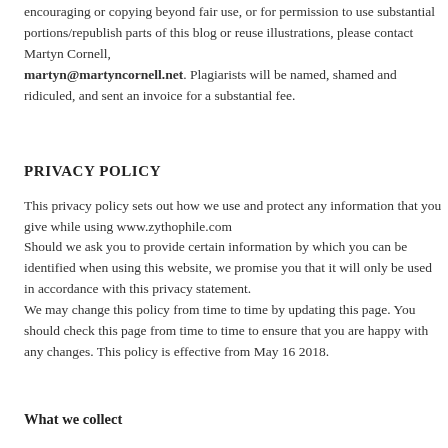encouraging or copying beyond fair use, or for permission to use substantial portions/republish parts of this blog or reuse illustrations, please contact Martyn Cornell, martyn@martyncornell.net. Plagiarists will be named, shamed and ridiculed, and sent an invoice for a substantial fee.
PRIVACY POLICY
This privacy policy sets out how we use and protect any information that you give while using www.zythophile.com
Should we ask you to provide certain information by which you can be identified when using this website, we promise you that it will only be used in accordance with this privacy statement.
We may change this policy from time to time by updating this page. You should check this page from time to time to ensure that you are happy with any changes. This policy is effective from May 16 2018.
What we collect
We may collect the following information:
• contact information including email address